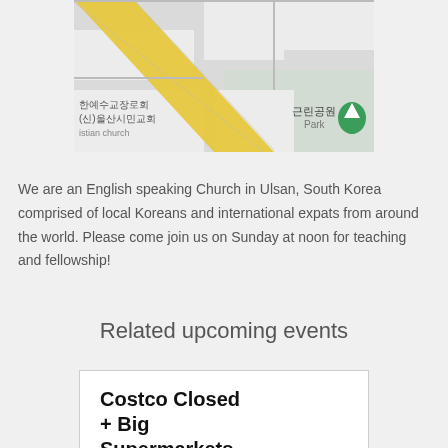[Figure (map): A Google Maps screenshot showing streets in Ulsan, South Korea. Korean text labels include '한예수교장로회', '(신)울산시민교회', 'istian church', '근린공원', 'Park'. A yellow road runs diagonally. A green park marker is visible on the right.]
We are an English speaking Church in Ulsan, South Korea comprised of local Koreans and international expats from around the world. Please come join us on Sunday at noon for teaching and fellowship!
Related upcoming events
Costco Closed + Big Supermarkets
08/28/22 -